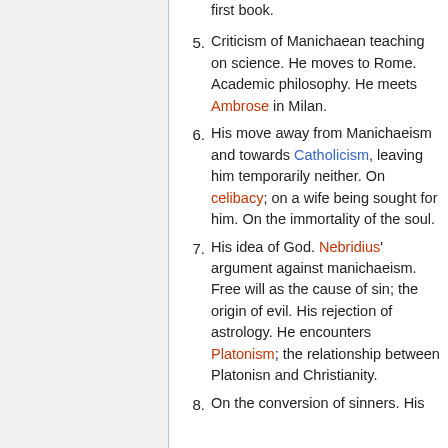(continuation) first book.
5. Criticism of Manichaean teaching on science. He moves to Rome. Academic philosophy. He meets Ambrose in Milan.
6. His move away from Manichaeism and towards Catholicism, leaving him temporarily neither. On celibacy; on a wife being sought for him. On the immortality of the soul.
7. His idea of God. Nebridius' argument against manichaeism. Free will as the cause of sin; the origin of evil. His rejection of astrology. He encounters Platonism; the relationship between Platonisn and Christianity.
8. On the conversion of sinners. His…